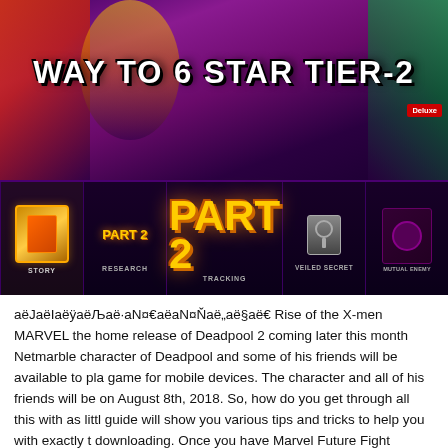[Figure (screenshot): Screenshot of Marvel Future Fight mobile game showing 'Way to 6 Star Tier-2 Part 2' event screen with characters including Wolverine, Deadpool characters, and a menu bar with Story, Research, Tracking, Veiled Secret, and Mutual Enemy options. Red X marks are shown in the lower portion indicating locked content.]
аëJаëIаёÿаëЉаë·аN¤€аëаN¤Ňаë„аë§аë€ Rise of the X-men MARVEL the home release of Deadpool 2 coming later this month Netmarble character of Deadpool and some of his friends will be available to play game for mobile devices. The character and all of his friends will be on August 8th, 2018. So, how do you get through all this with as little guide will show you various tips and tricks to help you with exactly that downloading. Once you have Marvel Future Fight installed and running